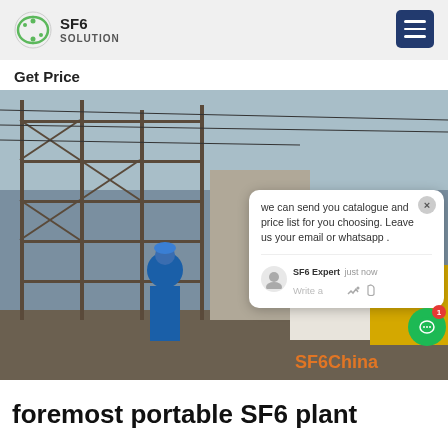SF6 SOLUTION
Get Price
[Figure (photo): Industrial electrical substation with scaffolding and a worker in blue protective gear and hard hat. A yellow truck is visible on the right. SF6China watermark in orange at bottom right.]
we can send you catalogue and price list for you choosing. Leave us your email or whatsapp .
SF6 Expert   just now
Write a
foremost portable SF6 plant